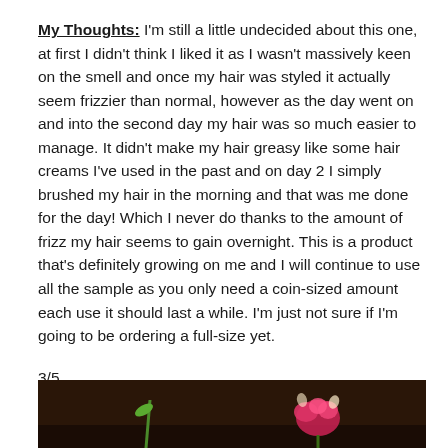My Thoughts: I'm still a little undecided about this one, at first I didn't think I liked it as I wasn't massively keen on the smell and once my hair was styled it actually seem frizzier than normal, however as the day went on and into the second day my hair was so much easier to manage. It didn't make my hair greasy like some hair creams I've used in the past and on day 2 I simply brushed my hair in the morning and that was me done for the day! Which I never do thanks to the amount of frizz my hair seems to gain overnight. This is a product that's definitely growing on me and I will continue to use all the sample as you only need a coin-sized amount each use it should last a while. I'm just not sure if I'm going to be ordering a full-size yet.
3/5
[Figure (photo): Bottom portion of a photo showing flowers (pink/red bloom on right, green stem/leaf on left) against a dark brown background, partially visible at bottom of page.]